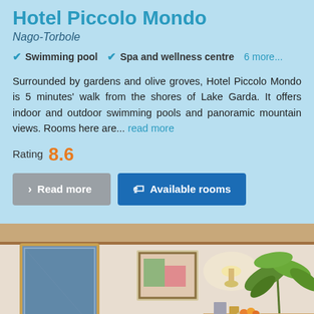Hotel Piccolo Mondo
Nago-Torbole
Swimming pool
Spa and wellness centre
6 more...
Surrounded by gardens and olive groves, Hotel Piccolo Mondo is 5 minutes' walk from the shores of Lake Garda. It offers indoor and outdoor swimming pools and panoramic mountain views. Rooms here are... read more
Rating 8.6
Read more
Available rooms
[Figure (photo): Hotel room interior showing white walls, a framed painting, a warm wall lamp, a tropical plant, and a small table with items on it.]